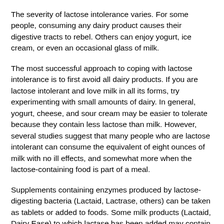The severity of lactose intolerance varies. For some people, consuming any dairy product causes their digestive tracts to rebel. Others can enjoy yogurt, ice cream, or even an occasional glass of milk.
The most successful approach to coping with lactose intolerance is to first avoid all dairy products. If you are lactose intolerant and love milk in all its forms, try experimenting with small amounts of dairy. In general, yogurt, cheese, and sour cream may be easier to tolerate because they contain less lactose than milk. However, several studies suggest that many people who are lactose intolerant can consume the equivalent of eight ounces of milk with no ill effects, and somewhat more when the lactose-containing food is part of a meal.
Supplements containing enzymes produced by lactose-digesting bacteria (Lactaid, Lactrase, others) can be taken as tablets or added to foods. Some milk products (Lactaid, Dairy Ease) to which lactase has been added may contain little or no lactose, and they may taste sweeter than untreated products, because the milk sugar has already been broken down. Probiotics (supplements of beneficial bacteria that normally inhabit the intestines) containing Lactobacillus reuteri may reduce symptoms, but not quite as well as enzyme